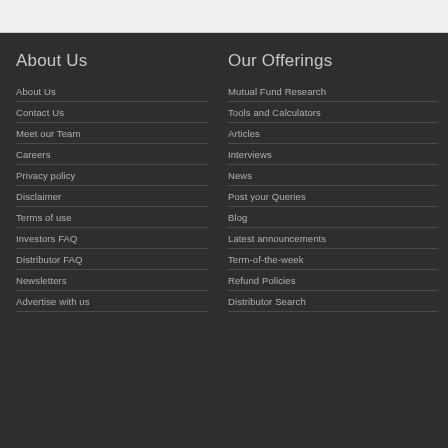About Us
About Us
Contact Us
Meet our Team
Careers
Privacy policy
Disclaimer
Terms of use
Investors FAQ
Distributor FAQ
Newsletters
Advertise with us
Our Offerings
Mutual Fund Research
Tools and Calculators
Articles
Interviews
News
Post your Queries
Blog
Latest announcements
Term-of-the-week
Refund Policies
Distributor Search